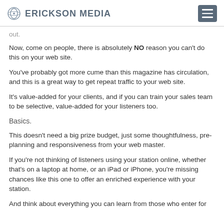ERICKSON MEDIA
…out.
Now, come on people, there is absolutely NO reason you can't do this on your web site.
You've probably got more cume than this magazine has circulation, and this is a great way to get repeat traffic to your web site.
It's value-added for your clients, and if you can train your sales team to be selective, value-added for your listeners too.
Basics.
This doesn't need a big prize budget, just some thoughtfulness, pre-planning and responsiveness from your web master.
If you're not thinking of listeners using your station online, whether that's on a laptop at home, or an iPad or iPhone, you're missing chances like this one to offer an enriched experience with your station.
And think about everything you can learn from those who enter for